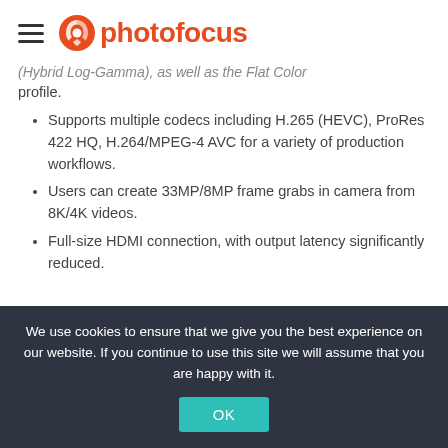photofocus
(Hybrid Log-Gamma), as well as the Flat Color profile.
Supports multiple codecs including H.265 (HEVC), ProRes 422 HQ, H.264/MPEG-4 AVC for a variety of production workflows.
Users can create 33MP/8MP frame grabs in camera from 8K/4K videos.
Full-size HDMI connection, with output latency significantly reduced.
We use cookies to ensure that we give you the best experience on our website. If you continue to use this site we will assume that you are happy with it.